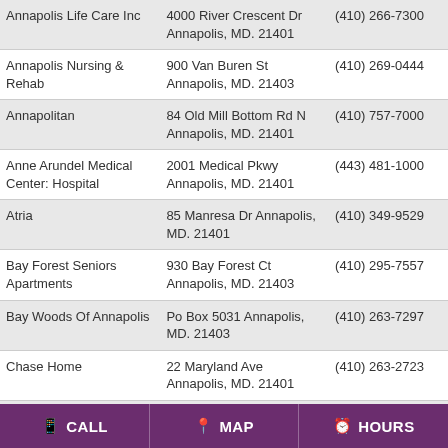| Name | Address | Phone |
| --- | --- | --- |
| Annapolis Life Care Inc | 4000 River Crescent Dr Annapolis, MD. 21401 | (410) 266-7300 |
| Annapolis Nursing & Rehab | 900 Van Buren St Annapolis, MD. 21403 | (410) 269-0444 |
| Annapolitan | 84 Old Mill Bottom Rd N Annapolis, MD. 21401 | (410) 757-7000 |
| Anne Arundel Medical Center: Hospital | 2001 Medical Pkwy Annapolis, MD. 21401 | (443) 481-1000 |
| Atria | 85 Manresa Dr Annapolis, MD. 21401 | (410) 349-9529 |
| Bay Forest Seniors Apartments | 930 Bay Forest Ct Annapolis, MD. 21403 | (410) 295-7557 |
| Bay Woods Of Annapolis | Po Box 5031 Annapolis, MD. 21403 | (410) 263-7297 |
| Chase Home | 22 Maryland Ave Annapolis, MD. 21401 | (410) 263-2723 |
| Colonial Manor Of Annapolis | 1313 West St Annapolis, MD. 21401 | (410) 280-6637 |
| Heart Homes | 3033 Arundel On The Bay Rd | (410) 974-8398 |
CALL   MAP   HOURS